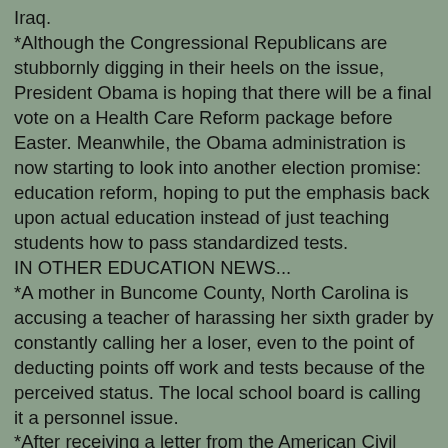Iraq.
*Although the Congressional Republicans are stubbornly digging in their heels on the issue, President Obama is hoping that there will be a final vote on a Health Care Reform package before Easter. Meanwhile, the Obama administration is now starting to look into another election promise: education reform, hoping to put the emphasis back upon actual education instead of just teaching students how to pass standardized tests.
IN OTHER EDUCATION NEWS...
*A mother in Buncome County, North Carolina is accusing a teacher of harassing her sixth grader by constantly calling her a loser, even to the point of deducting points off work and tests because of the perceived status. The local school board is calling it a personnel issue.
*After receiving a letter from the American Civil Liberties Union hoping they would honor the request, the Itawamba County School District in Mississippi decided to cancel the Ag School's prom when Constance McMillen wanted to bring her date (another female who would have worn a tux) to the dance. The local student body is apparently more upset with McMillen than the school board for canceling the prom.